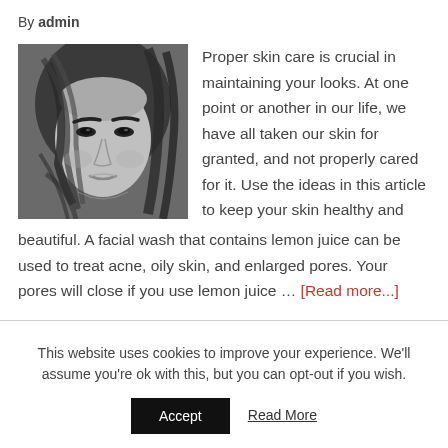By admin
[Figure (photo): Black and white portrait photo of a young woman with hair partially covering her face]
Proper skin care is crucial in maintaining your looks. At one point or another in our life, we have all taken our skin for granted, and not properly cared for it. Use the ideas in this article to keep your skin healthy and beautiful. A facial wash that contains lemon juice can be used to treat acne, oily skin, and enlarged pores. Your pores will close if you use lemon juice … [Read more...]
This website uses cookies to improve your experience. We'll assume you're ok with this, but you can opt-out if you wish.
Accept  Read More